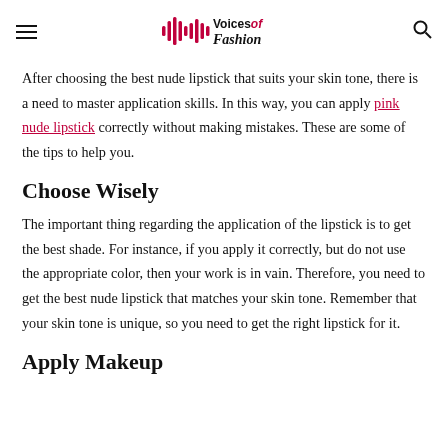Voices of Fashion
After choosing the best nude lipstick that suits your skin tone, there is a need to master application skills. In this way, you can apply pink nude lipstick correctly without making mistakes. These are some of the tips to help you.
Choose Wisely
The important thing regarding the application of the lipstick is to get the best shade. For instance, if you apply it correctly, but do not use the appropriate color, then your work is in vain. Therefore, you need to get the best nude lipstick that matches your skin tone. Remember that your skin tone is unique, so you need to get the right lipstick for it.
Apply Makeup